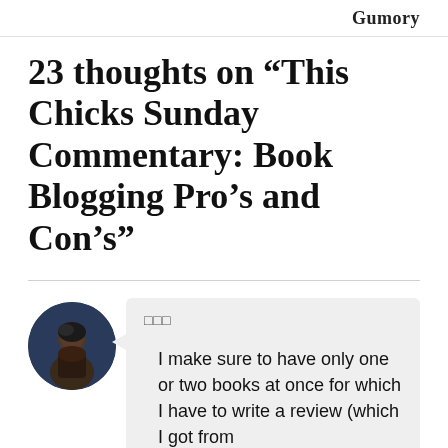Gumory
23 thoughts on “This Chicks Sunday Commentary: Book Blogging Pro’s and Con’s”
[Figure (photo): Circular avatar photo of a person, dark background]
□□□
I make sure to have only one or two books at once for which I have to write a review (which I got from